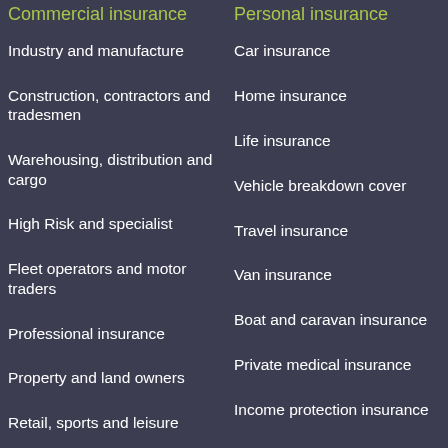Commercial insurance
Industry and manufacture
Construction, contractors and tradesmen
Warehousing, distribution and cargo
High Risk and specialist
Fleet operators and motor traders
Professional insurance
Property and land owners
Retail, sports and leisure
Charities, care and third sector
Entertainers and performing arts
Personal insurance
Car insurance
Home insurance
Life insurance
Vehicle breakdown cover
Travel insurance
Van insurance
Boat and caravan insurance
Private medical insurance
Income protection insurance
Specialist insurance